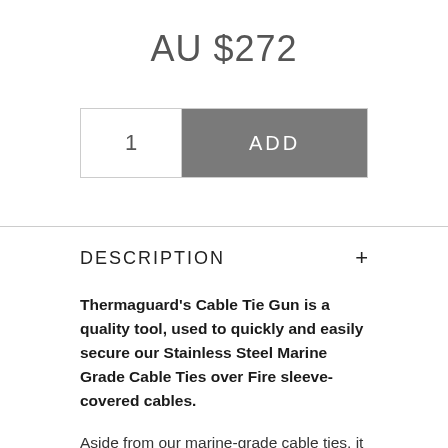AU $272
1  ADD
DESCRIPTION +
Thermaguard's Cable Tie Gun is a quality tool, used to quickly and easily secure our Stainless Steel Marine Grade Cable Ties over Fire sleeve-covered cables.
Aside from our marine-grade cable ties, it can also be used on miniature, intermediate, standard and other heavy-duty cable ties. Its